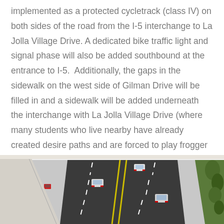implemented as a protected cycletrack (class IV) on both sides of the road from the I-5 interchange to La Jolla Village Drive. A dedicated bike traffic light and signal phase will also be added southbound at the entrance to I-5.  Additionally, the gaps in the sidewalk on the west side of Gilman Drive will be filled in and a sidewalk will be added underneath the interchange with La Jolla Village Drive (where many students who live nearby have already created desire paths and are forced to play frogger with cars).
[Figure (illustration): 3D isometric rendering of a multi-lane road/interchange with cars visible on the roadway, sidewalks on the sides, and vegetation on the right edge.]